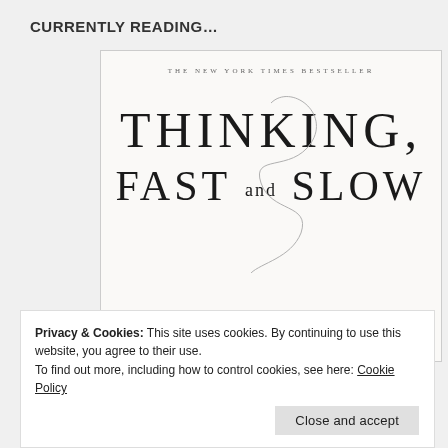CURRENTLY READING…
[Figure (illustration): Book cover of 'Thinking, Fast and Slow' by Daniel Kahneman. White background with large serif title text 'THINKING,' on one line and 'FAST and SLOW' below, with a pencil illustration at the bottom and a swirling line graphic. Top text reads 'THE NEW YORK TIMES BESTSELLER'.]
Privacy & Cookies: This site uses cookies. By continuing to use this website, you agree to their use.
To find out more, including how to control cookies, see here: Cookie Policy
Close and accept